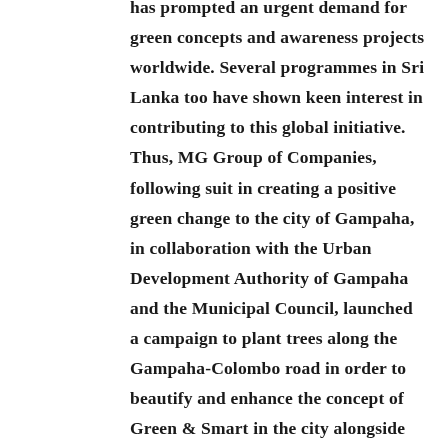has prompted an urgent demand for green concepts and awareness projects worldwide. Several programmes in Sri Lanka too have shown keen interest in contributing to this global initiative. Thus, MG Group of Companies, following suit in creating a positive green change to the city of Gampaha, in collaboration with the Urban Development Authority of Gampaha and the Municipal Council, launched a campaign to plant trees along the Gampaha-Colombo road in order to beautify and enhance the concept of Green & Smart in the city alongside their founding project Gampaha SMART city concept launched by the team.